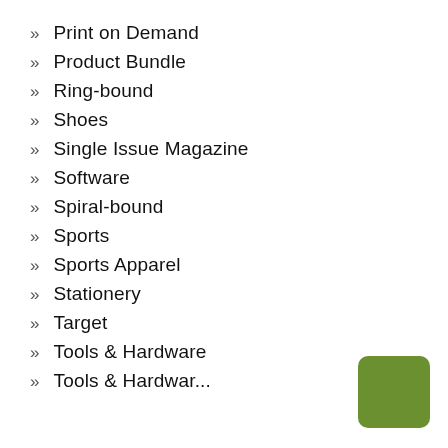Print on Demand
Product Bundle
Ring-bound
Shoes
Single Issue Magazine
Software
Spiral-bound
Sports
Sports Apparel
Stationery
Target
Tools & Hardware
Tools & Hardwar...